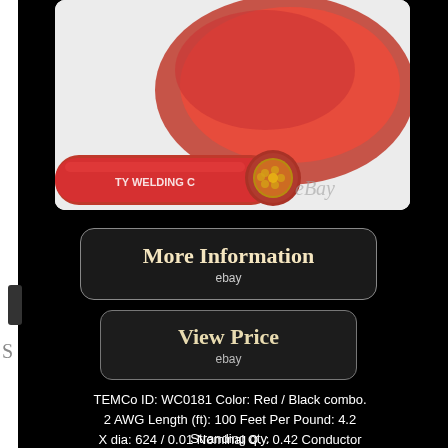[Figure (photo): Red welding cable coiled, showing cross-section of copper strands, with eBay watermark. Label reads 'TY WELDING C'.]
More Information
ebay
View Price
ebay
TEMCo ID: WC0181 Color: Red / Black combo. 2 AWG Length (ft): 100 Feet Per Pound: 4.2 Stranding qty.
X dia: 624 / 0.01 Nominal O. : 0.42 Conductor Material: Copper Insulation Material: High